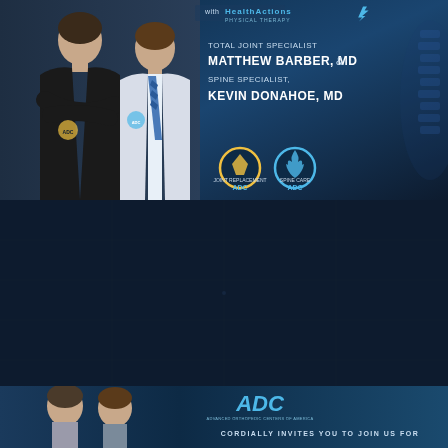[Figure (photo): Top promotional banner featuring two doctors — one in black scrubs with crossed arms (Total Joint Specialist Matthew Barber, MD) and one in a white lab coat (Spine Specialist Kevin Donahoe, MD) — on a dark blue background. Text on the right reads 'HealthActions Physical Therapy' with 'TOTAL JOINT SPECIALIST MATTHEW BARBER, MD & SPINE SPECIALIST, KEVIN DONAHOE, MD' and two circular ADC logo badges.]
[Figure (photo): Bottom banner showing partial view of two doctors with ADC logo and text 'CORDIALLY INVITES YOU TO JOIN US FOR' on a dark blue background.]